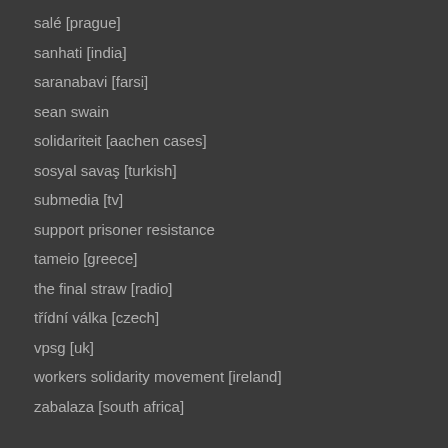salé [prague]
sanhati [india]
saranabavi [farsi]
sean swain
solidariteit [aachen cases]
sosyal savaş [turkish]
submedia [tv]
support prisoner resistance
tameio [greece]
the final straw [radio]
třídní válka [czech]
vpsg [uk]
workers solidarity movement [ireland]
zabalaza [south africa]